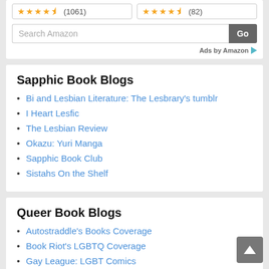[Figure (other): Star ratings widget with two boxes showing 4.5 stars (1061) and 4.5 stars (82), a Search Amazon input field with a Go button, and an Ads by Amazon label with a play arrow icon]
Sapphic Book Blogs
Bi and Lesbian Literature: The Lesbrary's tumblr
I Heart Lesfic
The Lesbian Review
Okazu: Yuri Manga
Sapphic Book Club
Sistahs On the Shelf
Queer Book Blogs
Autostraddle's Books Coverage
Book Riot's LGBTQ Coverage
Gay League: LGBT Comics